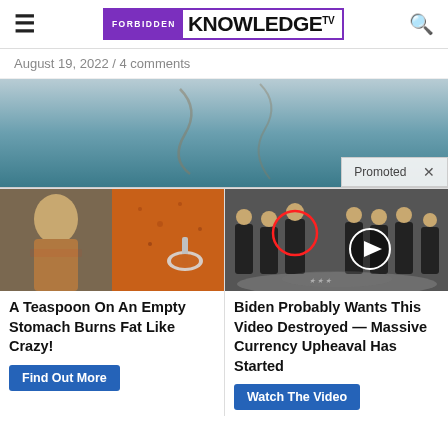Forbidden Knowledge TV
August 19, 2022 / 4 comments
[Figure (photo): Teal/blue abstract hero image with crescent moon shape, with a 'Promoted X' overlay in the lower right]
[Figure (infographic): Two-column ad block. Left: fitness/spice photo with headline 'A Teaspoon On An Empty Stomach Burns Fat Like Crazy!' and 'Find Out More' button. Right: CIA-style group photo with headline 'Biden Probably Wants This Video Destroyed — Massive Currency Upheaval Has Started' and 'Watch The Video' button.]